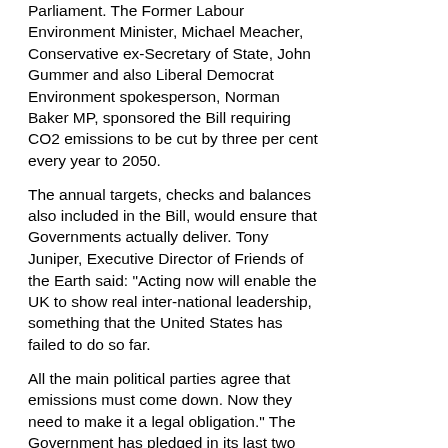Parliament. The Former Labour Environment Minister, Michael Meacher, Conservative ex-Secretary of State, John Gummer and also Liberal Democrat Environment spokesperson, Norman Baker MP, sponsored the Bill requiring CO2 emissions to be cut by three per cent every year to 2050.
The annual targets, checks and balances also included in the Bill, would ensure that Governments actually deliver. Tony Juniper, Executive Director of Friends of the Earth said: "Acting now will enable the UK to show real inter-national leadership, something that the United States has failed to do so far.
All the main political parties agree that emissions must come down. Now they need to make it a legal obligation." The Government has pledged in its last two election manifestos to reduce C02 emissions to 20 per cent below the 1990 levels by 2010. Despite promises,the Government is off track as since it came to power in 1997, emissions have increased by 4.7 per cent.
President of The Royal Society, Sir Robert May, has warned that the climate change denial lobby, funded by the US oil industry, has moved to the UK. "On one hand we have the Intergovernmental Panel on Climate Change, the rest of the world's